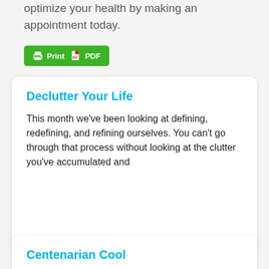optimize your health by making an appointment today.
[Figure (other): Green button with printer icon and PDF icon labeled 'Print PDF']
Declutter Your Life
This month we've been looking at defining, redefining, and refining ourselves. You can't go through that process without looking at the clutter you've accumulated and
Centenarian Cool